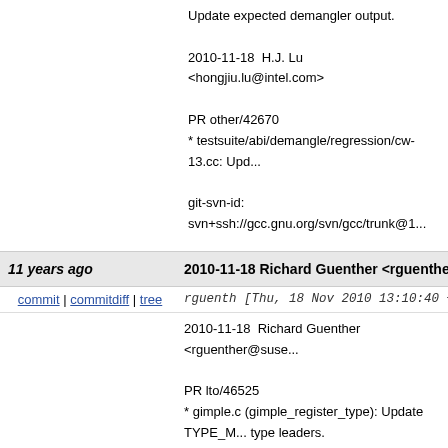Update expected demangler output.
2010-11-18  H.J. Lu  <hongjiu.lu@intel.com>
PR other/42670
* testsuite/abi/demangle/regression/cw-13.cc: Upd...
git-svn-id: svn+ssh://gcc.gnu.org/svn/gcc/trunk@1...
11 years ago   2010-11-18 Richard Guenther <rguenther@sus...
commit | commitdiff | tree   rguenth [Thu, 18 Nov 2010 13:10:40 +0000...
2010-11-18  Richard Guenther  <rguenther@suse...
PR lto/46525
* gimple.c (gimple_register_type): Update TYPE_M... type leaders.
(gimple_register_canonical_type): Also cache the ... for non type leaders.
git-svn-id: svn+ssh://gcc.gnu.org/svn/gcc/trunk@1...
11 years ago   2010-11-18 Richard Guenther <rguenther@sus...
commit | commitdiff | tree   rguenth [Thu, 18 Nov 2010 11:19:20 +0000...
2010-11-18  Richard Guenther  <rguenther@suse...